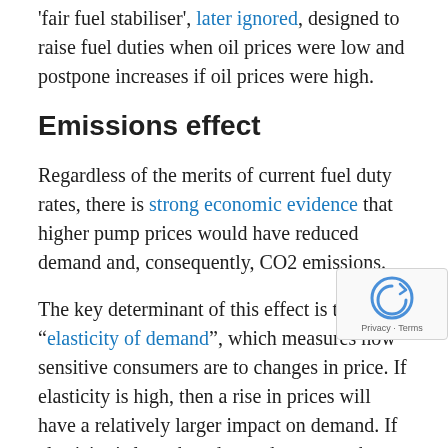'fair fuel stabiliser', later ignored, designed to raise fuel duties when oil prices were low and postpone increases if oil prices were high.
Emissions effect
Regardless of the merits of current fuel duty rates, there is strong economic evidence that higher pump prices would have reduced demand and, consequently, CO2 emissions.
The key determinant of this effect is the "elasticity of demand", which measures how sensitive consumers are to changes in price. If elasticity is high, then a rise in prices will have a relatively larger impact on demand. If elasticity is low, then demand may not change much.
The elasticity of demand is usually understood to